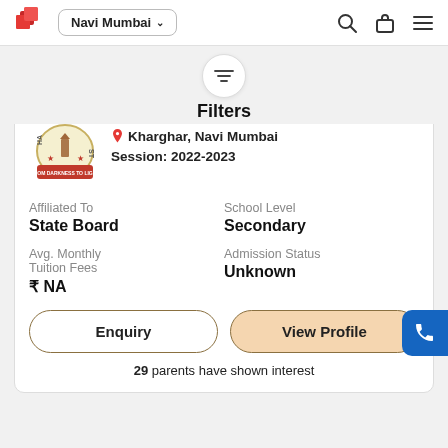Navi Mumbai
Filters
Kharghar, Navi Mumbai
Session: 2022-2023
Affiliated To
State Board
School Level
Secondary
Avg. Monthly Tuition Fees
₹ NA
Admission Status
Unknown
Enquiry
View Profile
29 parents have shown interest